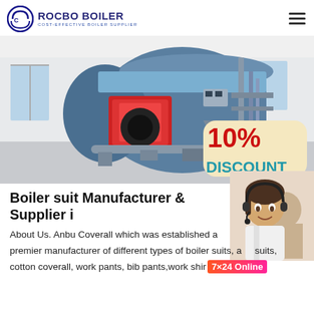ROCBO BOILER - COST-EFFECTIVE BOILER SUPPLIER
[Figure (photo): Industrial gas boiler in a white factory setting with a red burner unit, blue cylindrical boiler body, and piping. An overlay badge shows '10% DISCOUNT' in red and teal.]
Boiler suit Manufacturer & Supplier i...
About Us. Anbu Coverall which was established a premier manufacturer of different types of boiler suits, a suits, cotton coverall, work pants, bib pants, work shirt...